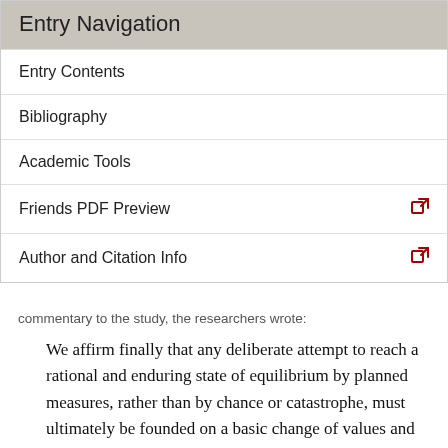Entry Navigation
Entry Contents
Bibliography
Academic Tools
Friends PDF Preview
Author and Citation Info
commentary to the study, the researchers wrote:
We affirm finally that any deliberate attempt to reach a rational and enduring state of equilibrium by planned measures, rather than by chance or catastrophe, must ultimately be founded on a basic change of values and goals at individual, national and world levels. (Meadows et al. 1972: 195)
The call for a “basic change of values” in connection to the environment (a call that could be interpreted in terms of either instrumental or intrinsic values) reflected a need